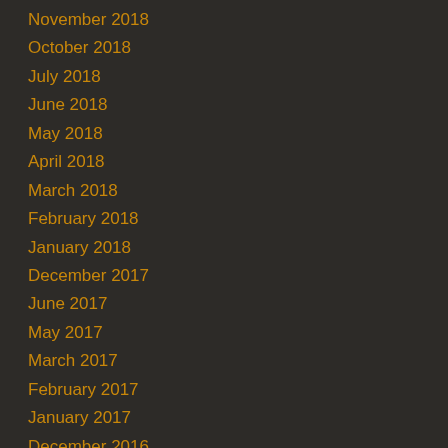November 2018
October 2018
July 2018
June 2018
May 2018
April 2018
March 2018
February 2018
January 2018
December 2017
June 2017
May 2017
March 2017
February 2017
January 2017
December 2016
November 2016
October 2016
September 2016
August 2016
July 2016